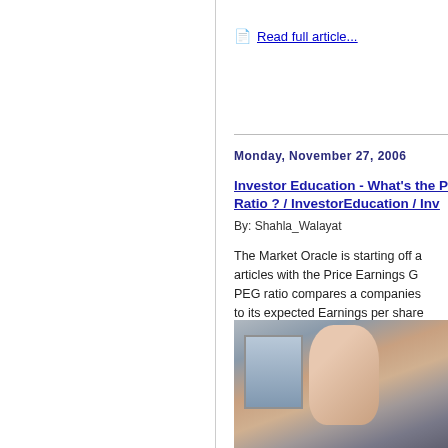Read full article...
Monday, November 27, 2006
Investor Education - What's the P Ratio ? / InvestorEducation / Inv
By: Shahla_Walayat
The Market Oracle is starting off a articles with the Price Earnings G PEG ratio compares a companies to its expected Earnings per share
[Figure (photo): Woman with glasses looking at a computer monitor showing financial data]